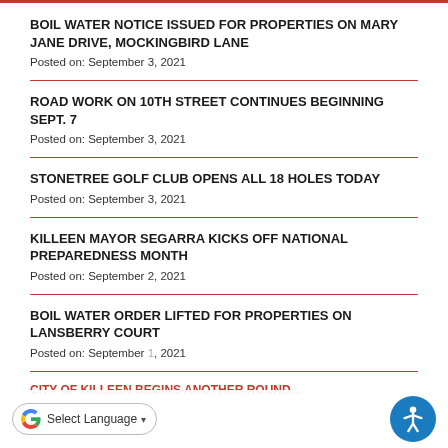BOIL WATER NOTICE ISSUED FOR PROPERTIES ON MARY JANE DRIVE, MOCKINGBIRD LANE
Posted on: September 3, 2021
ROAD WORK ON 10TH STREET CONTINUES BEGINNING SEPT. 7
Posted on: September 3, 2021
STONETREE GOLF CLUB OPENS ALL 18 HOLES TODAY
Posted on: September 3, 2021
KILLEEN MAYOR SEGARRA KICKS OFF NATIONAL PREPAREDNESS MONTH
Posted on: September 2, 2021
BOIL WATER ORDER LIFTED FOR PROPERTIES ON LANSBERRY COURT
Posted on: September 1, 2021
CITY OF KILLEEN BEGINS ANOTHER ROUND...